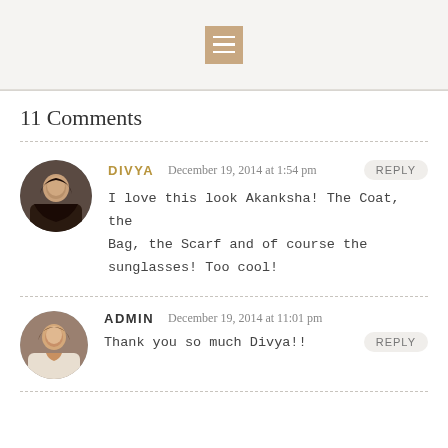11 Comments
DIVYA   December 19, 2014 at 1:54 pm   REPLY
I love this look Akanksha! The Coat, the Bag, the Scarf and of course the sunglasses! Too cool!
ADMIN   December 19, 2014 at 11:01 pm   REPLY
Thank you so much Divya!!